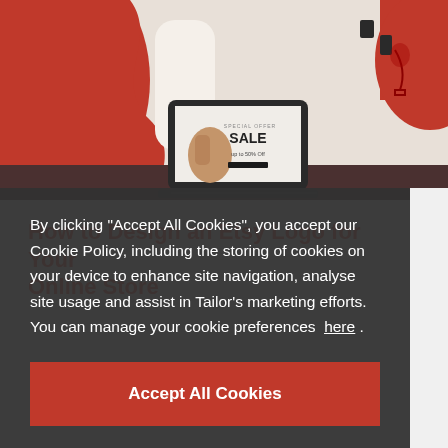[Figure (photo): Photo of a laptop on a desk showing a 'SPECIAL OFFER SALE up to 50% OFF' banner on screen, with red abstract background shapes and a clothing mannequin visible]
How to Design an Etsy Logo for Your Online Store
By clicking "Accept All Cookies", you accept our Cookie Policy, including the storing of cookies on your device to enhance site navigation, analyse site usage and assist in Tailor's marketing efforts. You can manage your cookie preferences here .
Accept All Cookies